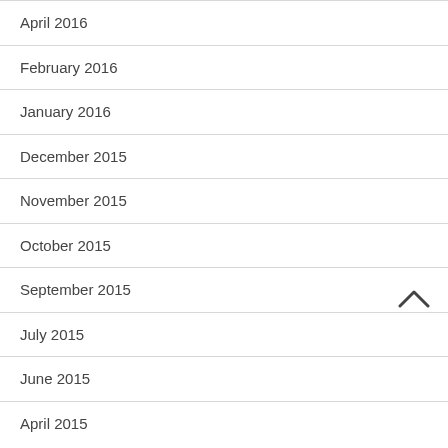April 2016
February 2016
January 2016
December 2015
November 2015
October 2015
September 2015
July 2015
June 2015
April 2015